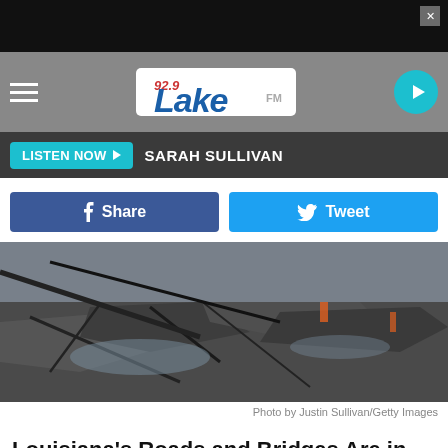[Figure (screenshot): Black ad bar with X close button]
[Figure (logo): 92.9 Lake FM navigation bar with hamburger menu, logo, and play button]
LISTEN NOW ▶  SARAH SULLIVAN
[Figure (other): Facebook Share button and Twitter Tweet button]
[Figure (photo): Cracked and broken road pavement with water puddles and debris]
Photo by Justin Sullivan/Getty Images
Louisiana's Roads and Bridges Are in Terrible Shape, But They're Not The Worst